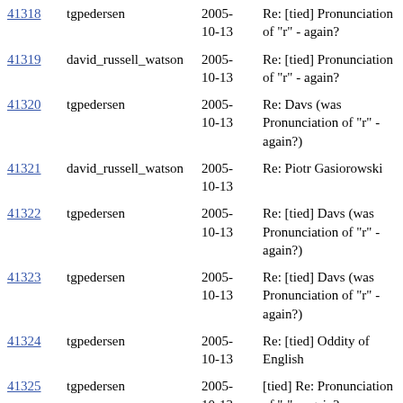| ID | Author | Date | Subject |
| --- | --- | --- | --- |
| 41318 | tgpedersen | 2005-10-13 | Re: [tied] Pronunciation of "r" - again? |
| 41319 | david_russell_watson | 2005-10-13 | Re: [tied] Pronunciation of "r" - again? |
| 41320 | tgpedersen | 2005-10-13 | Re: Davs (was Pronunciation of "r" - again?) |
| 41321 | david_russell_watson | 2005-10-13 | Re: Piotr Gasiorowski |
| 41322 | tgpedersen | 2005-10-13 | Re: [tied] Davs (was Pronunciation of "r" - again?) |
| 41323 | tgpedersen | 2005-10-13 | Re: [tied] Davs (was Pronunciation of "r" - again?) |
| 41324 | tgpedersen | 2005-10-13 | Re: [tied] Oddity of English |
| 41325 | tgpedersen | 2005-10-13 | [tied] Re: Pronunciation of "r" - again? |
| 41326 | Patrick Ryan | 2005-10-13 | Re: [tied] Pronunciation of "r" - again? |
| 41327 | tgpedersen | 2005-10-13 | [tied] Re: Pronunciation of "r" - again? |